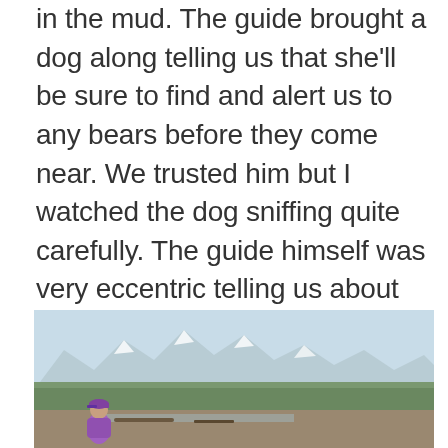in the mud. The guide brought a dog along telling us that she'll be sure to find and alert us to any bears before they come near. We trusted him but I watched the dog sniffing quite carefully. The guide himself was very eccentric telling us about half a dozen different lives that he had lived before becoming a guide (everything from special operations in the British military to teacher to Oxford University student).
[Figure (photo): Person in a purple cap and jacket sitting or standing in an outdoor landscape with mountains, green trees, and a river or mudflat in the background under a light sky.]